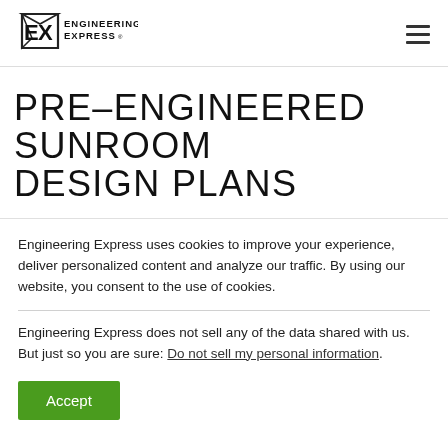[Figure (logo): Engineering Express logo with stylized E/X icon and company name text]
PRE-ENGINEERED SUNROOM DESIGN PLANS
Engineering Express uses cookies to improve your experience, deliver personalized content and analyze our traffic. By using our website, you consent to the use of cookies.
Engineering Express does not sell any of the data shared with us. But just so you are sure: Do not sell my personal information.